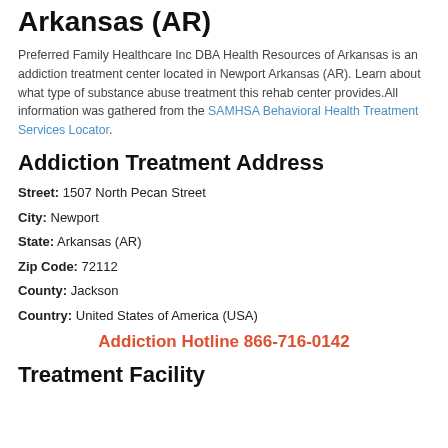Arkansas (AR)
Preferred Family Healthcare Inc DBA Health Resources of Arkansas is an addiction treatment center located in Newport Arkansas (AR). Learn about what type of substance abuse treatment this rehab center provides.All information was gathered from the SAMHSA Behavioral Health Treatment Services Locator.
Addiction Treatment Address
Street: 1507 North Pecan Street
City: Newport
State: Arkansas (AR)
Zip Code: 72112
County: Jackson
Country: United States of America (USA)
Addiction Hotline 866-716-0142
Treatment Facility